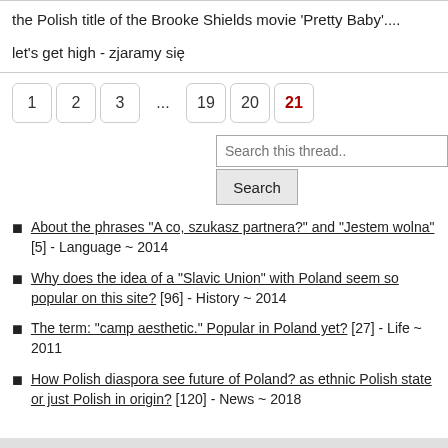the Polish title of the Brooke Shields movie 'Pretty Baby'....
let's get high - zjaramy się
1  2  3  ...  19  20  21
About the phrases "A co, szukasz partnera?" and "Jestem wolna" [5] - Language ~ 2014
Why does the idea of a "Slavic Union" with Poland seem so popular on this site? [96] - History ~ 2014
The term: "camp aesthetic." Popular in Poland yet? [27] - Life ~ 2011
How Polish diaspora see future of Poland? as ethnic Polish state or just Polish in origin? [120] - News ~ 2018